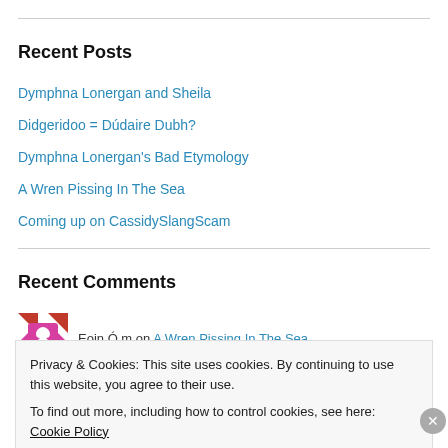Recent Posts
Dymphna Lonergan and Sheila
Didgeridoo = Dúdaire Dubh?
Dymphna Lonergan's Bad Etymology
A Wren Pissing In The Sea
Coming up on CassidySlangScam
Recent Comments
Eoin Ó m on A Wren Pissing In The Sea
Privacy & Cookies: This site uses cookies. By continuing to use this website, you agree to their use.
To find out more, including how to control cookies, see here: Cookie Policy